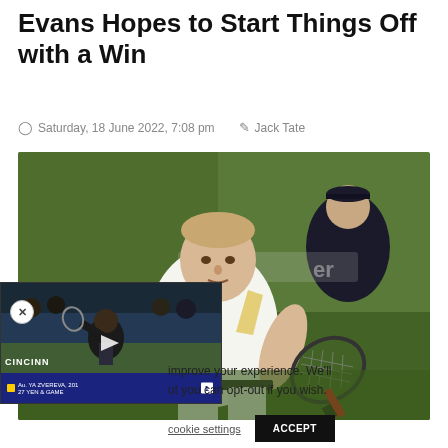Evans Hopes to Start Things Off with a Win
Saturday, 18 June 2022, 7:08 pm   Jack Tate
[Figure (photo): Tennis player in white and yellow polo shirt holding a racket on a clay court, with a ball boy or line judge in dark uniform visible in background]
[Figure (screenshot): Video overlay showing female tennis player at Cincinnati tournament, with score bar showing match details]
improve your experience. We'll ut you can opt-out if you wish.
cookie settings   ACCEPT